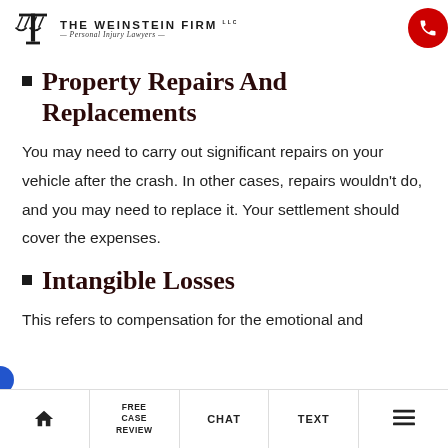The Weinstein Firm — Personal Injury Lawyers
Property Repairs And Replacements
You may need to carry out significant repairs on your vehicle after the crash. In other cases, repairs wouldn't do, and you may need to replace it. Your settlement should cover the expenses.
Intangible Losses
This refers to compensation for the emotional and
FREE CASE REVIEW | CHAT | TEXT